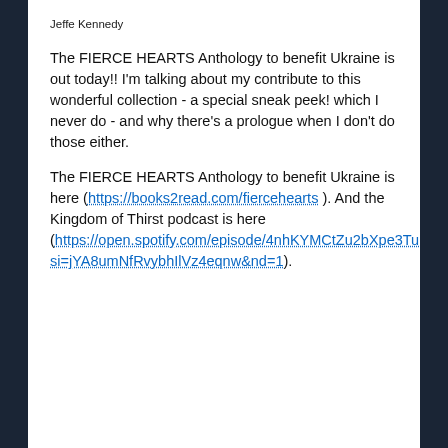Jeffe Kennedy
The FIERCE HEARTS Anthology to benefit Ukraine is out today!! I'm talking about my contribute to this wonderful collection - a special sneak peek! which I never do - and why there's a prologue when I don't do those either.
The FIERCE HEARTS Anthology to benefit Ukraine is here (https://books2read.com/fiercehearts ). And the Kingdom of Thirst podcast is here (https://open.spotify.com/episode/4nhKYMCtZu2bXpe3Tubmfn?si=jYA8umNfRvybhIlVz4eqnw&nd=1).